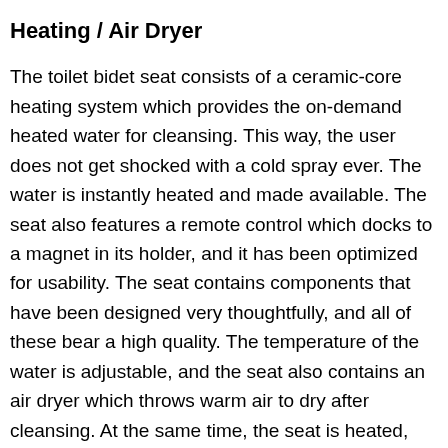Heating / Air Dryer
The toilet bidet seat consists of a ceramic-core heating system which provides the on-demand heated water for cleansing. This way, the user does not get shocked with a cold spray ever. The water is instantly heated and made available. The seat also features a remote control which docks to a magnet in its holder, and it has been optimized for usability. The seat contains components that have been designed very thoughtfully, and all of these bear a high quality. The temperature of the water is adjustable, and the seat also contains an air dryer which throws warm air to dry after cleansing. At the same time, the seat is heated, and the user does not feel cold even in the cold states in North America. The seat is